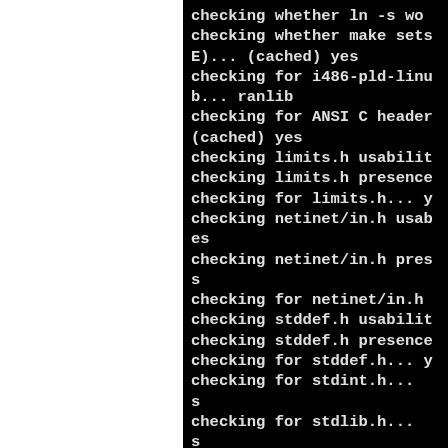[Figure (screenshot): Terminal/console output showing autoconf configure script checks for system headers and tools, displayed as white monospace text on black background. The left portion of the page is white (document margin). The terminal output is clipped on the right side.]